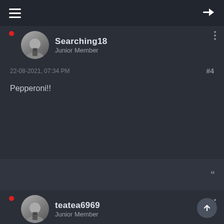Searching18
Junior Member
22-08-2021, 07:34 PM
#4
Pepperoni!!
teatea6969
Junior Member